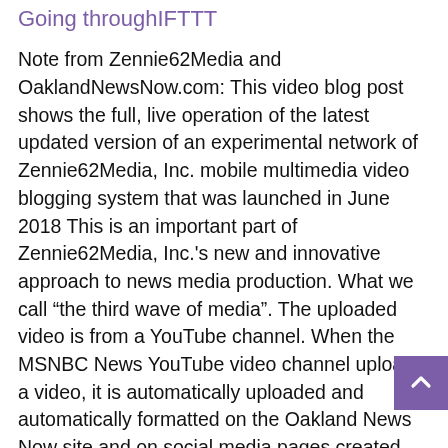Going through IFTTT
Note from Zennie62Media and OaklandNewsNow.com: This video blog post shows the full, live operation of the latest updated version of an experimental network of Zennie62Media, Inc. mobile multimedia video blogging system that was launched in June 2018 This is an important part of Zennie62Media, Inc.'s new and innovative approach to news media production. What we call “the third wave of media”. The uploaded video is from a YouTube channel. When the MSNBC News YouTube video channel uploads a video, it is automatically uploaded and automatically formatted on the Oakland News Now site and on social media pages created and owned by Zennie62. The overall goal here, in addition to our is the on-scene reporting of news, interviews, sightings and events anywhere in the world and in seconds and not hours – is the use of the network existing YouTube social. graphic on any subject in the world. Now the news is reported with a smartphone and also by promoting the current content on YouTube: no heavy and expensive camera or even a laptop is needed, nor to have a camera crew to film what